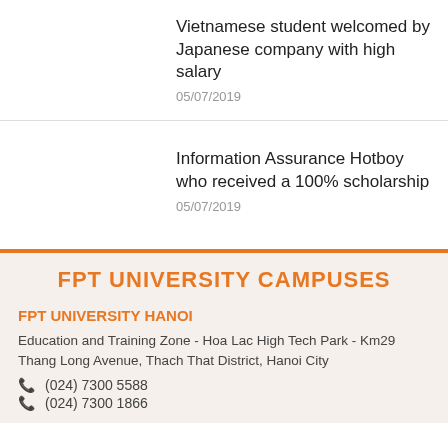Vietnamese student welcomed by Japanese company with high salary
05/07/2019
Information Assurance Hotboy who received a 100% scholarship
05/07/2019
FPT UNIVERSITY CAMPUSES
FPT UNIVERSITY HANOI
Education and Training Zone - Hoa Lac High Tech Park - Km29 Thang Long Avenue, Thach That District, Hanoi City
(024) 7300 5588
(024) 7300 1866